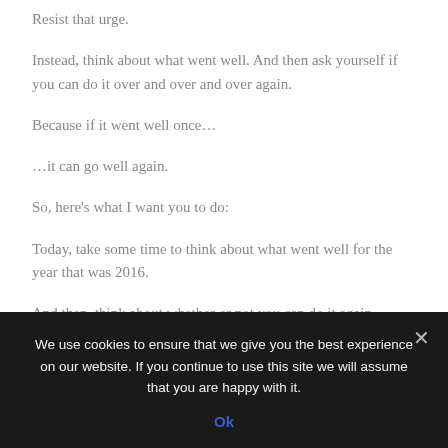Resist that urge.
Instead, think about what went well. And then ask yourself if you can do it over and over and over again.
Because if it went well once…
…it can go well again.
So, here's what I want you to do:
Today, take some time to think about what went well for the year that was 2016.
And then, think about whether or not you can do it again.
And then, tell me about it.
comment like this:
Hi, I'm [Name]. And I w Ok [insert]
We use cookies to ensure that we give you the best experience on our website. If you continue to use this site we will assume that you are happy with it.